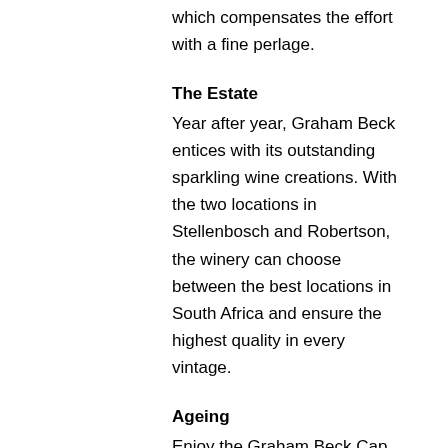which compensates the effort with a fine perlage.
The Estate
Year after year, Graham Beck entices with its outstanding sparkling wine creations. With the two locations in Stellenbosch and Robertson, the winery can choose between the best locations in South Africa and ensure the highest quality in every vintage.
Ageing
Enjoy the Graham Beck Cap Classique Brut Rosé right away since this is what it was made for. In a consistently tempered cellar however, it will also keep for a few years.
Alcohol: 12% vol